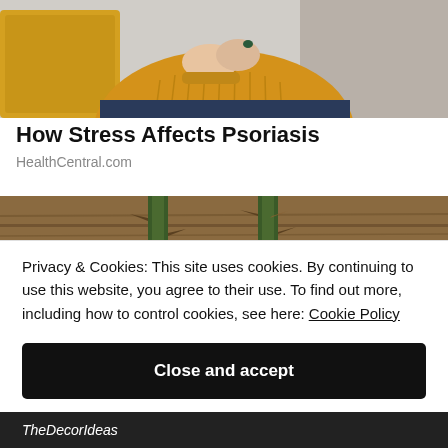[Figure (photo): Close-up photo of a person in a yellow knit sweater, hands clasped or folded, with a yellow pillow and gray sofa cushion in background]
How Stress Affects Psoriasis
HealthCentral.com
[Figure (photo): Close-up photo of thorny green plant stems on a wooden surface]
Privacy & Cookies: This site uses cookies. By continuing to use this website, you agree to their use. To find out more, including how to control cookies, see here: Cookie Policy
Close and accept
TheDecorIdeas